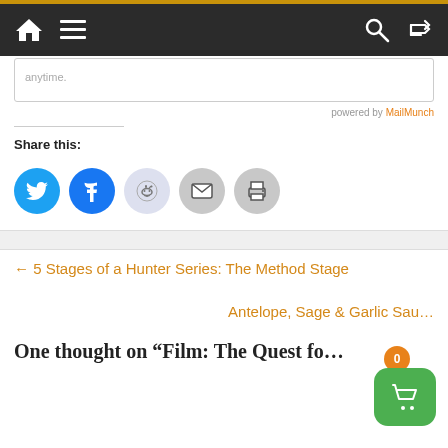Navigation bar with home, menu, search, and shuffle icons
anytime.
powered by MailMunch
Share this:
[Figure (infographic): Social share buttons: Twitter (blue), Facebook (blue), Reddit (light blue), Email (grey), Print (grey)]
← 5 Stages of a Hunter Series: The Method Stage
Antelope, Sage & Garlic Sau…
One thought on "Film: The Quest fo…